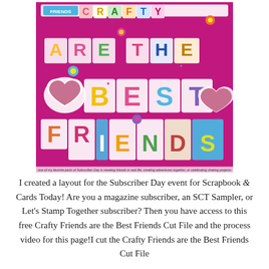[Figure (photo): A colorful scrapbook layout page on magenta/pink background featuring large decorative letter cutouts spelling 'CRAFTY FRIENDS ARE THE BEST FRIENDS' filled with patterned papers, photos of groups of women friends, floral embellishments, and hearts. Small handwritten caption along the bottom edge.]
I created a layout for the Subscriber Day event for Scrapbook & Cards Today! Are you a magazine subscriber, an SCT Sampler, or Let's Stamp Together subscriber? Then you have access to this free Crafty Friends are the Best Friends Cut File and the process video for this page!I cut the Crafty Friends are the Best Friends Cut File